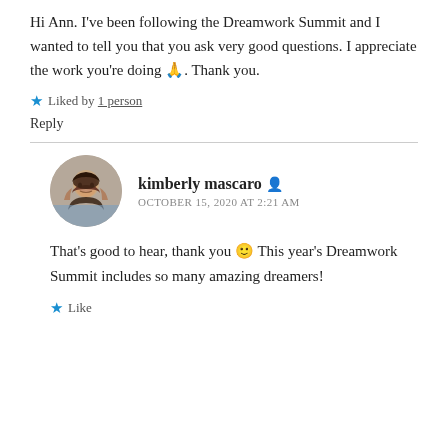Hi Ann. I've been following the Dreamwork Summit and I wanted to tell you that you ask very good questions. I appreciate the work you're doing 🙏. Thank you.
★ Liked by 1 person
Reply
kimberly mascaro
OCTOBER 15, 2020 AT 2:21 AM
That's good to hear, thank you 🙂 This year's Dreamwork Summit includes so many amazing dreamers!
★ Like